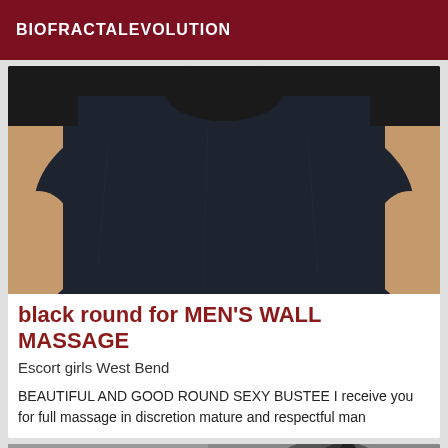BIOFRACTALEVOLUTION
[Figure (photo): Close-up photo of a person's back wearing a dark navy/black shirt, with bare skin visible on the sides.]
black round for MEN'S WALL MASSAGE
Escort girls West Bend
BEAUTIFUL AND GOOD ROUND SEXY BUSTEE I receive you for full massage in discretion mature and respectful man
[Figure (photo): Partial photo showing what appears to be massage equipment or similar, in black and white/grayscale. Has a VIP badge overlay.]